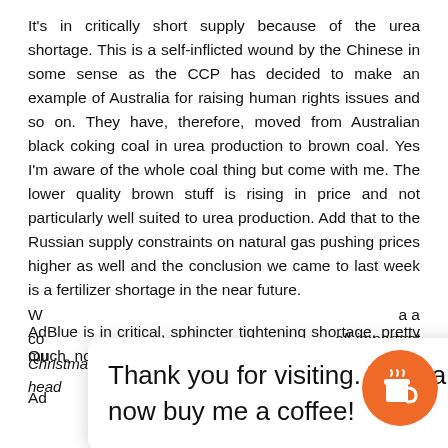It's in critically short supply because of the urea shortage. This is a self-inflicted wound by the Chinese in some sense as the CCP has decided to make an example of Australia for raising human rights issues and so on. They have, therefore, moved from Australian black coking coal in urea production to brown coal. Yes I'm aware of the whole coal thing but come with me. The lower quality brown stuff is rising in price and not particularly well suited to urea production. Add that to the Russian supply constraints on natural gas pushing prices higher as well and the conclusion we came to last week is a fertilizer shortage in the near future.
AdBlue is in critical, sphincter tightening shortage, pretty much, now.
Ad...
[Figure (other): Popup overlay with text 'Thank you for visiting. You can now buy me a coffee!' and an orange circular coffee cup button icon]
...a a all-important Christmas period, there are fears matters will come to a head...